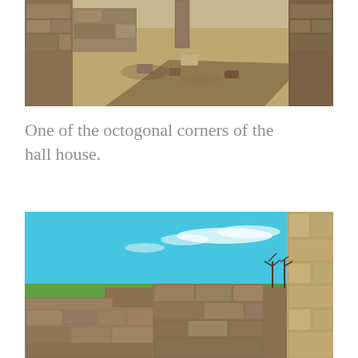[Figure (photo): Close-up photo of stone ruins of a hall house showing scattered stone blocks and rubble on a sandy dirt ground, with stone walls visible in the background under bright sunlight creating strong shadows.]
One of the octogonal corners of the hall house.
[Figure (photo): Wide-angle exterior photo of ancient stone ruins under a bright blue sky with wispy clouds. Low crumbling stone walls of different heights are visible, with green grass on the ground and bare trees in the background. A tall stone column or pillar is visible on the right edge.]